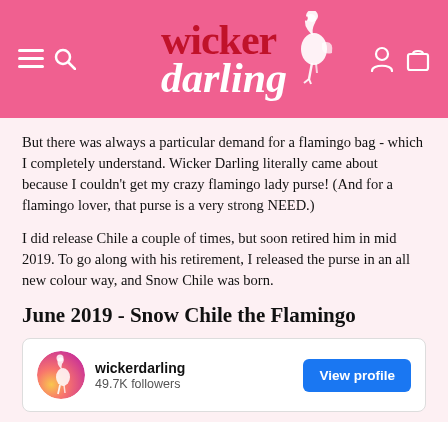[Figure (logo): Wicker Darling logo with flamingo silhouette on pink background, navigation icons for menu, search, account, and cart]
But there was always a particular demand for a flamingo bag - which I completely understand. Wicker Darling literally came about because I couldn't get my crazy flamingo lady purse! (And for a flamingo lover, that purse is a very strong NEED.)
I did release Chile a couple of times, but soon retired him in mid 2019. To go along with his retirement, I released the purse in an all new colour way, and Snow Chile was born.
June 2019 - Snow Chile the Flamingo
[Figure (screenshot): Instagram profile embed showing wickerdarling with 49.7K followers and a View profile button]